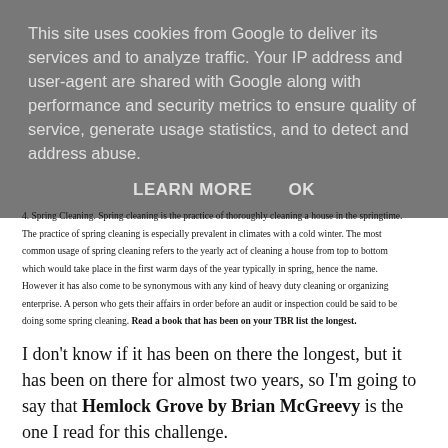This site uses cookies from Google to deliver its services and to analyze traffic. Your IP address and user-agent are shared with Google along with performance and security metrics to ensure quality of service, generate usage statistics, and to detect and address abuse.
LEARN MORE    OK
4. Spring Cleaning. Spring cleaning is the practice of thoroughly cleaning a house in the springtime. The practice of spring cleaning is especially prevalent in climates with a cold winter. The most common usage of spring cleaning refers to the yearly act of cleaning a house from top to bottom which would take place in the first warm days of the year typically in spring, hence the name. However it has also come to be synonymous with any kind of heavy duty cleaning or organizing enterprise. A person who gets their affairs in order before an audit or inspection could be said to be doing some spring cleaning. Read a book that has been on your TBR list the longest.
I don't know if it has been on there the longest, but it has been on there for almost two years, so I'm going to say that Hemlock Grove by Brian McGreevy is the one I read for this challenge.
5. Spring Break is a vacation period in early spring at universities and schools in various countries in